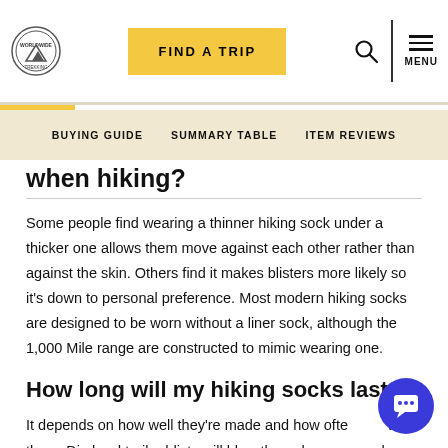FIND A TRIP | MENU
BUYING GUIDE | SUMMARY TABLE | ITEM REVIEWS
when hiking?
Some people find wearing a thinner hiking sock under a thicker one allows them move against each other rather than against the skin. Others find it makes blisters more likely so it's down to personal preference. Most modern hiking socks are designed to be worn without a liner sock, although the 1,000 Mile range are constructed to mimic wearing one.
How long will my hiking socks last?
It depends on how well they're made and how often you wear them. Die hard trail addicts will blow through a pair much faster than a weekend warrior. Smartwool reckon